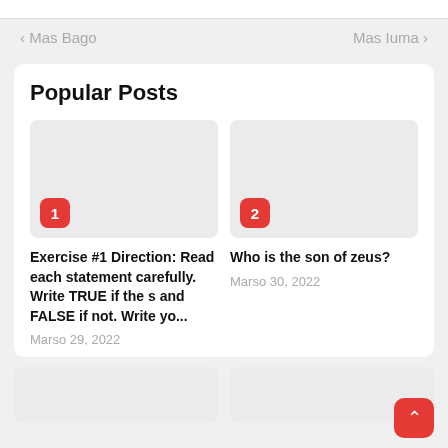‹ Mas Bago    Mas Iuma ›
Popular Posts
Exercise #1 Direction: Read each statement carefully. Write TRUE if the s and FALSE if not. Write yo...
Marso 29, 2022
Who is the son of zeus?
Marso 30, 2022